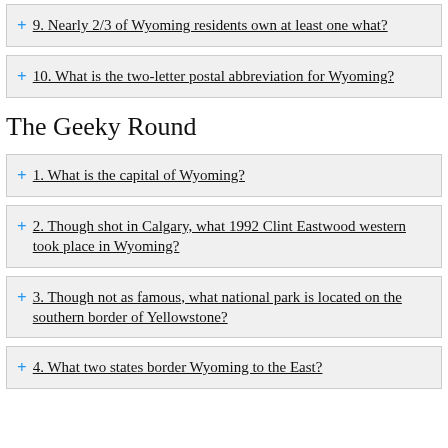9. Nearly 2/3 of Wyoming residents own at least one what?
10. What is the two-letter postal abbreviation for Wyoming?
The Geeky Round
1. What is the capital of Wyoming?
2. Though shot in Calgary, what 1992 Clint Eastwood western took place in Wyoming?
3. Though not as famous, what national park is located on the southern border of Yellowstone?
4. What two states border Wyoming to the East?